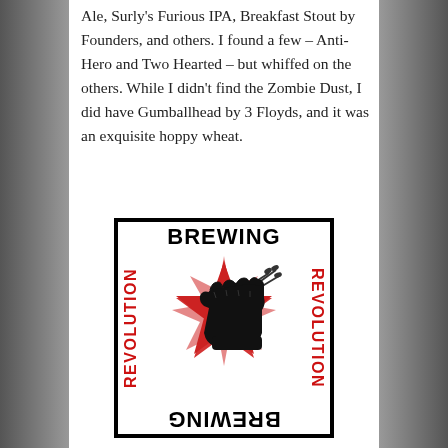Ale, Surly's Furious IPA, Breakfast Stout by Founders, and others. I found a few – Anti-Hero and Two Hearted – but whiffed on the others. While I didn't find the Zombie Dust, I did have Gumballhead by 3 Floyds, and it was an exquisite hoppy wheat.
[Figure (logo): Revolution Brewing logo: black square border with 'BREWING' text top and bottom (bottom text mirrored/upside-down), 'REVOLUTION' text on left and right sides rotated 90 degrees, with a red star and black raised fist holding wheat stalks in the center.]